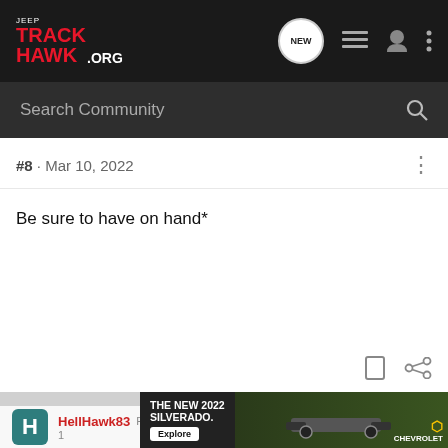JEEP TRACKHAWK.ORG
#8 · Mar 10, 2022
Be sure to have on hand*
HellHawk83  Registered
[Figure (screenshot): Chevrolet Silverado 2022 advertisement banner with 'THE NEW 2022 SILVERADO.' text, Explore button, and Chevrolet logo on a dark background with truck image]